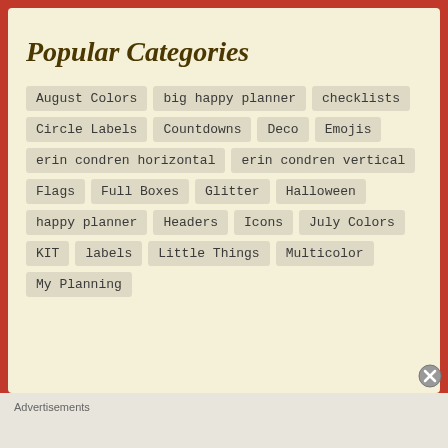Popular Categories
August Colors
big happy planner
checklists
Circle Labels
Countdowns
Deco
Emojis
erin condren horizontal
erin condren vertical
Flags
Full Boxes
Glitter
Halloween
happy planner
Headers
Icons
July Colors
KIT
labels
Little Things
Multicolor
My Planning
Advertisements